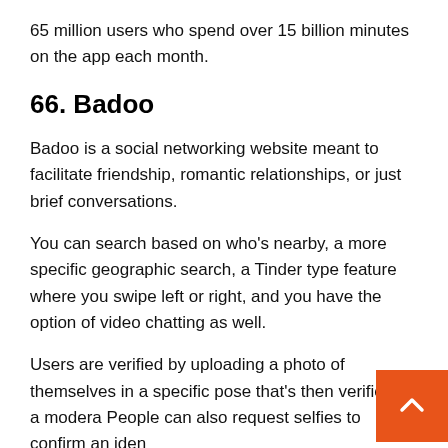65 million users who spend over 15 billion minutes on the app each month.
66. Badoo
Badoo is a social networking website meant to facilitate friendship, romantic relationships, or just brief conversations.
You can search based on who’s nearby, a more specific geographic search, a Tinder type feature where you swipe left or right, and you have the option of video chatting as well.
Users are verified by uploading a photo of themselves in a specific pose that’s then verified by a modera… People can also request selfies to confirm an iden…
Since launching in 2006, Badoo has had 435 million